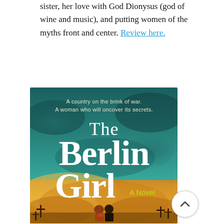sister, her love with God Dionysus (god of wine and music), and putting women of the myths front and center. Review here.
[Figure (illustration): Book cover of 'The Berlin Girl: A Novel' — teal/dark background at top with white serif title text, tagline 'A country on the brink of war. A woman who will uncover its secrets.' in small white text. Below the title, a warm golden/amber sky with silhouettes of two people and crosses/spires. A circular scroll-up button (white with upward chevron) overlaps the bottom-right of the cover.]